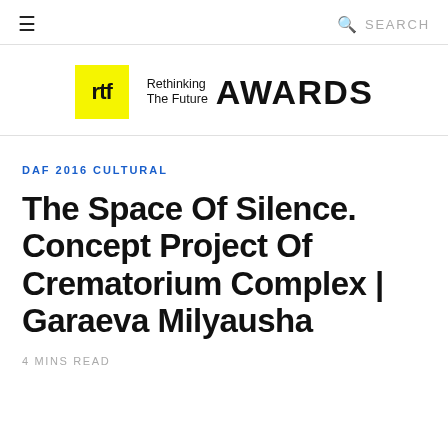≡  🔍 SEARCH
[Figure (logo): Rethinking The Future Awards logo — yellow square with 'rtf' text, followed by 'Rethinking The Future AWARDS' text]
DAF 2016 CULTURAL
The Space Of Silence. Concept Project Of Crematorium Complex | Garaeva Milyausha
4 MINS READ